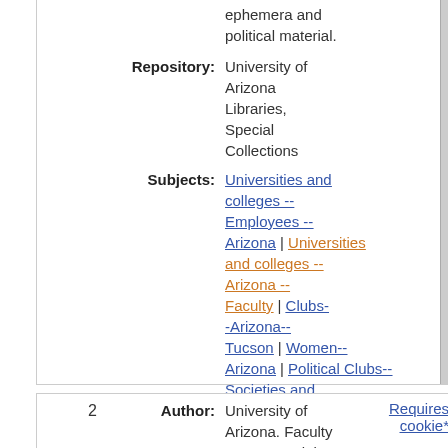ephemera and political material.
| Repository: | University of Arizona Libraries, Special Collections |
| Subjects: | Universities and colleges -- Employees -- Arizona | Universities and colleges -- Arizona -- Faculty | Clubs--Arizona--Tucson | Women--Arizona | Political Clubs--Societies and Clubs |
| Similar Items: | Find Similar Guides |
| 2 | Author: | University of Arizona. Faculty Women's Club | Requires cookie* |